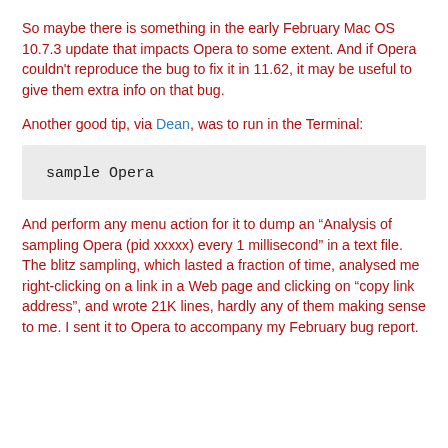So maybe there is something in the early February Mac OS 10.7.3 update that impacts Opera to some extent. And if Opera couldn't reproduce the bug to fix it in 11.62, it may be useful to give them extra info on that bug.
Another good tip, via Dean, was to run in the Terminal:
sample Opera
And perform any menu action for it to dump an “Analysis of sampling Opera (pid xxxxx) every 1 millisecond” in a text file. The blitz sampling, which lasted a fraction of time, analysed me right-clicking on a link in a Web page and clicking on “copy link address”, and wrote 21K lines, hardly any of them making sense to me. I sent it to Opera to accompany my February bug report.